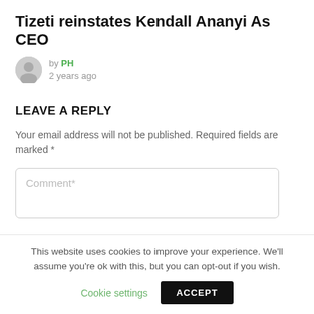Tizeti reinstates Kendall Ananyi As CEO
by PH
2 years ago
LEAVE A REPLY
Your email address will not be published. Required fields are marked *
Comment*
This website uses cookies to improve your experience. We'll assume you're ok with this, but you can opt-out if you wish.
Cookie settings  ACCEPT